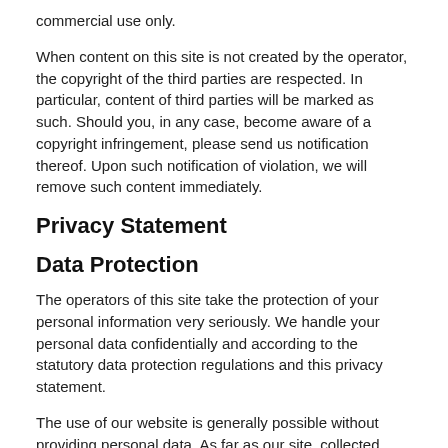commercial use only.
When content on this site is not created by the operator, the copyright of the third parties are respected. In particular, content of third parties will be marked as such. Should you, in any case, become aware of a copyright infringement, please send us notification thereof. Upon such notification of violation, we will remove such content immediately.
Privacy Statement
Data Protection
The operators of this site take the protection of your personal information very seriously. We handle your personal data confidentially and according to the statutory data protection regulations and this privacy statement.
The use of our website is generally possible without providing personal data. As far as our site, collected personal data (for instance, name, address or email address) is, as much as possible, always on a voluntary basis. This data will not be passed on to